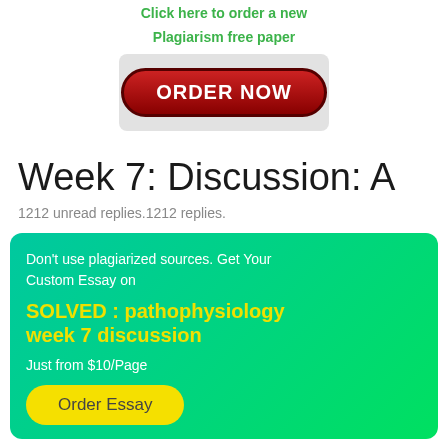Click here to order a new
Plagiarism free paper
[Figure (other): Red rounded button with white bold text 'ORDER NOW' on a light gray background]
Week 7: Discussion: A
1212 unread replies.1212 replies.
Don't use plagiarized sources. Get Your Custom Essay on
SOLVED : pathophysiology week 7 discussion
Just from $10/Page
[Figure (other): Yellow rounded button with text 'Order Essay']